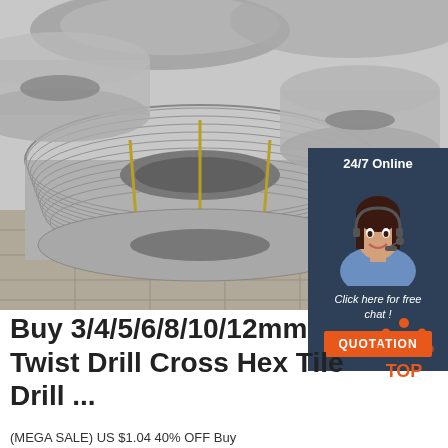[Figure (photo): Large coils of steel wire rods stacked on a tiled floor, grey/silver in color, bound with rope/wire]
[Figure (infographic): 24/7 Online chat widget with a smiling woman wearing a headset, dark blue background, with 'Click here for free chat!' text and an orange QUOTATION button]
Buy 3/4/5/6/8/10/12mm Twist Drill Cross Hex Tile Drill ...
[Figure (logo): TOP badge icon with orange dots arranged in triangle/crown shape above the word TOP in orange text]
(MEGA SALE) US $1.04 40% OFF Buy